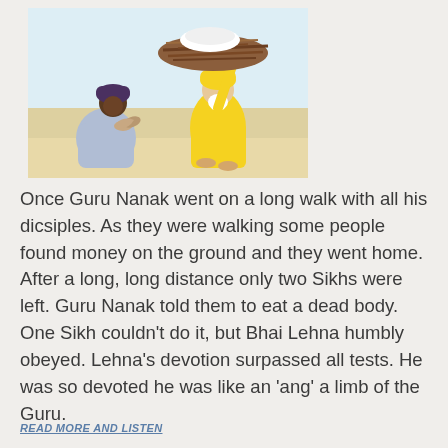[Figure (illustration): A hand-drawn illustration showing two figures: a person in yellow robes and a yellow turban with a white beard holding up a large bundle of sticks/nest overhead with one arm, and another person in blue robes with a dark turban kneeling with hands pressed together in prayer. The background suggests a sandy/desert landscape with a light blue sky.]
Once Guru Nanak went on a long walk with all his dicsiples. As they were walking some people found money on the ground and they went home. After a long, long distance only two Sikhs were left. Guru Nanak told them to eat a dead body. One Sikh couldn't do it, but Bhai Lehna humbly obeyed. Lehna's devotion surpassed all tests. He was so devoted he was like an 'ang' a limb of the Guru.
READ MORE AND LISTEN